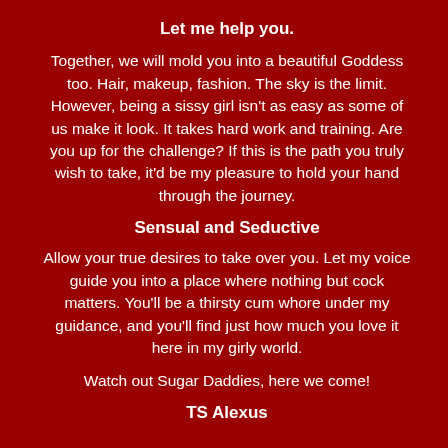Let me help you.
Together, we will mold you into a beautiful Goddess too. Hair, makeup, fashion. The sky is the limit. However, being a sissy girl isn't as easy as some of us make it look. It takes hard work and training. Are you up for the challenge? If this is the path you truly wish to take, it'd be my pleasure to hold your hand through the journey.
Sensual and Seductive
Allow your true desires to take over you. Let my voice guide you into a place where nothing but cock matters. You'll be a thirsty cum whore under my guidance, and you'll find just how much you love it here in my girly world.
Watch out Sugar Daddies, here we come!
TS Alexus